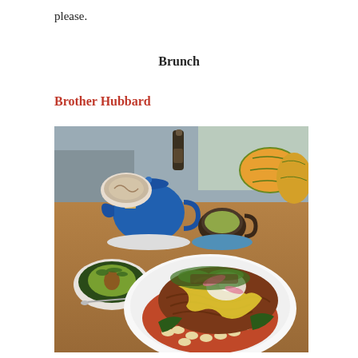please.
Brunch
Brother Hubbard
[Figure (photo): A brunch spread on a wooden table at Brother Hubbard cafe, featuring a white plate piled high with pulled meat, beans, hollandaise sauce, poached egg, and herbs; a small bowl with a halved avocado garnished with herbs; a blue ceramic teapot with a latte cup; a dark cup of green/herbal tea on a blue saucer; and decorative gourds in the background.]